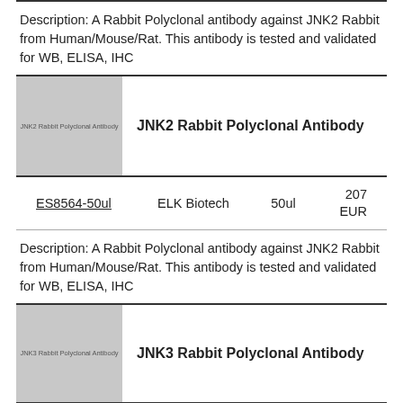Description: A Rabbit Polyclonal antibody against JNK2 Rabbit from Human/Mouse/Rat. This antibody is tested and validated for WB, ELISA, IHC
[Figure (photo): Placeholder image for JNK2 Rabbit Polyclonal Antibody product, gray rectangle with watermark text]
JNK2 Rabbit Polyclonal Antibody
ES8564-50ul    ELK Biotech    50ul    207 EUR
Description: A Rabbit Polyclonal antibody against JNK2 Rabbit from Human/Mouse/Rat. This antibody is tested and validated for WB, ELISA, IHC
[Figure (photo): Placeholder image for JNK3 Rabbit Polyclonal Antibody product, gray rectangle with watermark text]
JNK3 Rabbit Polyclonal Antibody